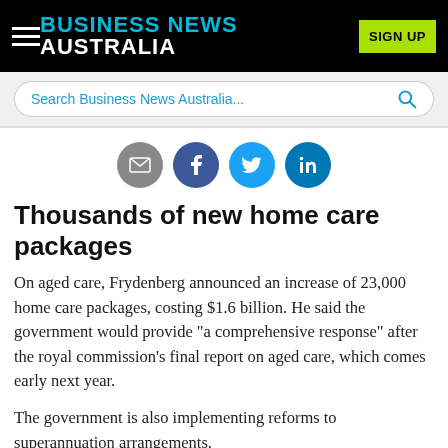BUSINESS NEWS AUSTRALIA
Search Business News Australia...
Thousands of new home care packages
On aged care, Frydenberg announced an increase of 23,000 home care packages, costing $1.6 billion. He said the government would provide "a comprehensive response" after the royal commission's final report on aged care, which comes early next year.
The government is also implementing reforms to superannuation arrangements.
New superannuation accounts will no longer be automatically created when a worker moves jobs. "Under our reforms, your super will follow you," Frydenberg said. The government had previously flagged that it would take steps to